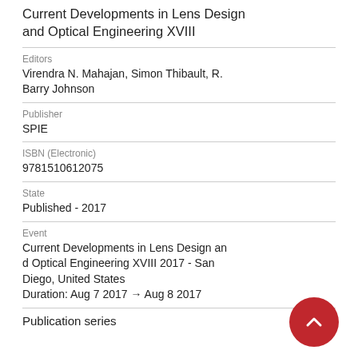Current Developments in Lens Design and Optical Engineering XVIII
Editors
Virendra N. Mahajan, Simon Thibault, R. Barry Johnson
Publisher
SPIE
ISBN (Electronic)
9781510612075
State
Published - 2017
Event
Current Developments in Lens Design and Optical Engineering XVIII 2017 - San Diego, United States
Duration: Aug 7 2017 → Aug 8 2017
Publication series